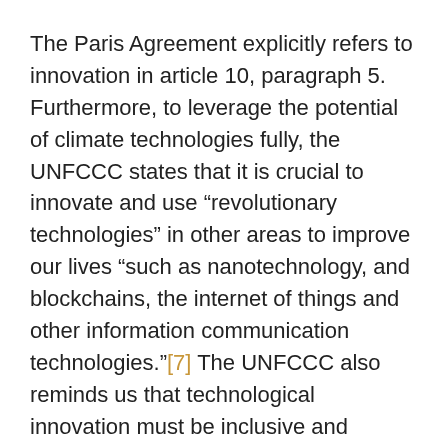The Paris Agreement explicitly refers to innovation in article 10, paragraph 5. Furthermore, to leverage the potential of climate technologies fully, the UNFCCC states that it is crucial to innovate and use "revolutionary technologies" in other areas to improve our lives "such as nanotechnology, and blockchains, the internet of things and other information communication technologies."[7] The UNFCCC also reminds us that technological innovation must be inclusive and equitable for maximum impact.
According to Rieger,[8] in theory, there are three ways that information and communications technologies (ICTs) lead to dematerialisation (understood as the